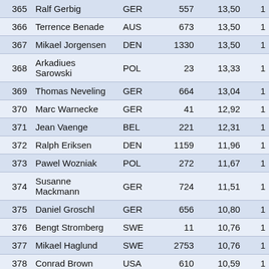| 365 | Ralf Gerbig | GER | 557 | 13,50 | 1 |
| 366 | Terrence Benade | AUS | 673 | 13,50 | 1 |
| 367 | Mikael Jorgensen | DEN | 1330 | 13,50 | 1 |
| 368 | Arkadiues Sarowski | POL | 23 | 13,33 | 1 |
| 369 | Thomas Neveling | GER | 664 | 13,04 | 1 |
| 370 | Marc Warnecke | GER | 41 | 12,92 | 1 |
| 371 | Jean Vaenge | BEL | 221 | 12,31 | 1 |
| 372 | Ralph Eriksen | DEN | 1159 | 11,96 | 1 |
| 373 | Pawel Wozniak | POL | 272 | 11,67 | 1 |
| 374 | Susanne Mackmann | GER | 724 | 11,51 | 1 |
| 375 | Daniel Groschl | GER | 656 | 10,80 | 1 |
| 376 | Bengt Stromberg | SWE | 11 | 10,76 | 1 |
| 377 | Mikael Haglund | SWE | 2753 | 10,76 | 1 |
| 378 | Conrad Brown | USA | 610 | 10,59 | 1 |